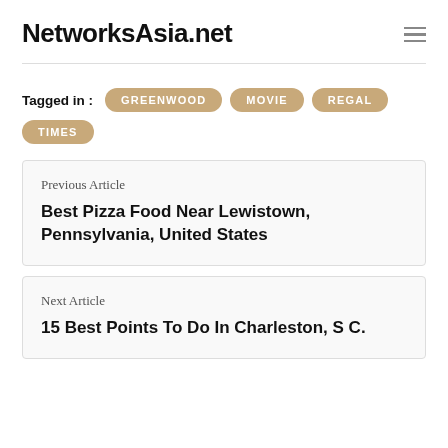NetworksAsia.net
Tagged in : GREENWOOD  MOVIE  REGAL  TIMES
Previous Article
Best Pizza Food Near Lewistown, Pennsylvania, United States
Next Article
15 Best Points To Do In Charleston, S C.